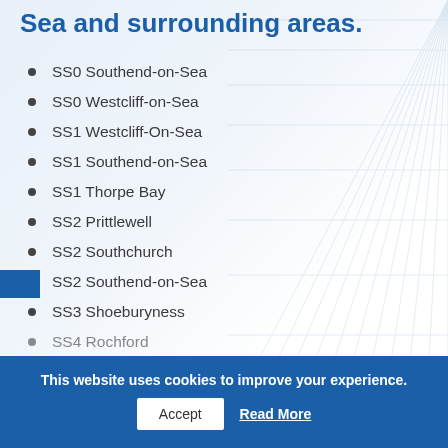Sea and surrounding areas.
SS0 Southend-on-Sea
SS0 Westcliff-on-Sea
SS1 Westcliff-On-Sea
SS1 Southend-on-Sea
SS1 Thorpe Bay
SS2 Prittlewell
SS2 Southchurch
SS2 Southend-on-Sea
SS3 Shoeburyness
SS4 Rochford
This website uses cookies to improve your experience.
Accept
Read More